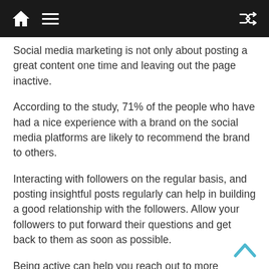Navigation header with home icon, menu icon, and shuffle icon
Social media marketing is not only about posting a great content one time and leaving out the page inactive.
According to the study, 71% of the people who have had a nice experience with a brand on the social media platforms are likely to recommend the brand to others.
Interacting with followers on the regular basis, and posting insightful posts regularly can help in building a good relationship with the followers. Allow your followers to put forward their questions and get back to them as soon as possible.
Being active can help you reach out to more followers on a regular basis. If there is a really interesting content, then you can do sponsored blog posts to further enhance the reach of the content.
Conclus